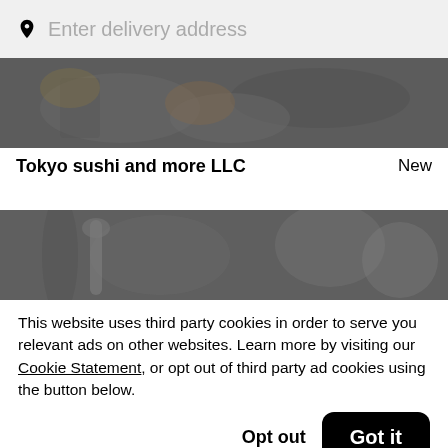Enter delivery address
[Figure (photo): Overhead photo of Japanese sushi/food dishes on a table, darkened]
Tokyo sushi and more LLC
New
[Figure (photo): Overhead photo of table settings with plates and spoons, darkened/gray]
This website uses third party cookies in order to serve you relevant ads on other websites. Learn more by visiting our Cookie Statement, or opt out of third party ad cookies using the button below.
Opt out
Got it